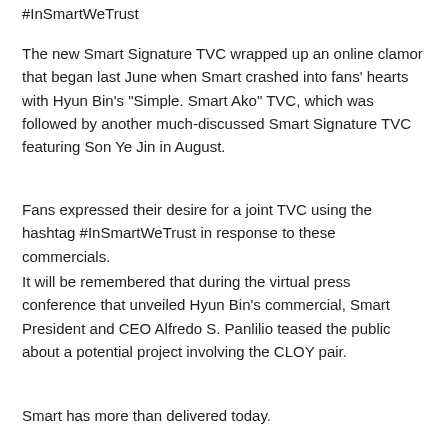#InSmartWeTrust
The new Smart Signature TVC wrapped up an online clamor that began last June when Smart crashed into fans' hearts with Hyun Bin's "Simple. Smart Ako" TVC, which was followed by another much-discussed Smart Signature TVC featuring Son Ye Jin in August.
Fans expressed their desire for a joint TVC using the hashtag #InSmartWeTrust in response to these commercials.
It will be remembered that during the virtual press conference that unveiled Hyun Bin's commercial, Smart President and CEO Alfredo S. Panlilio teased the public about a potential project involving the CLOY pair.
Smart has more than delivered today.